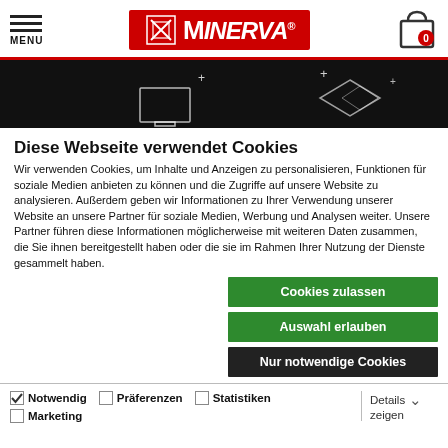MENU | MINERVA® logo | Cart 0
[Figure (screenshot): Dark promotional banner with white line-art graphics of monitors/devices and sparkle stars on black background]
Diese Webseite verwendet Cookies
Wir verwenden Cookies, um Inhalte und Anzeigen zu personalisieren, Funktionen für soziale Medien anbieten zu können und die Zugriffe auf unsere Website zu analysieren. Außerdem geben wir Informationen zu Ihrer Verwendung unserer Website an unsere Partner für soziale Medien, Werbung und Analysen weiter. Unsere Partner führen diese Informationen möglicherweise mit weiteren Daten zusammen, die Sie ihnen bereitgestellt haben oder die sie im Rahmen Ihrer Nutzung der Dienste gesammelt haben.
Cookies zulassen
Auswahl erlauben
Nur notwendige Cookies
Notwendig  Präferenzen  Statistiken  Marketing  Details zeigen